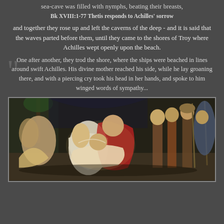sea-cave was filled with nymphs, beating their breasts,
Bk XVIII:1-77 Thetis responds to Achilles' sorrow
and together they rose up and left the caverns of the deep - and it is said that the waves parted before them, until they came to the shores of Troy where Achilles wept openly upon the beach.
One after another, they trod the shore, where the ships were beached in lines around swift Achilles. His divine mother reached his side, while he lay groaning there, and with a piercing cry took his head in her hands, and spoke to him winged words of sympathy...
[Figure (photo): Classical painting depicting Achilles grieving with Thetis and other figures around him, surrounded by soldiers and nymphs in an ancient Greek scene.]